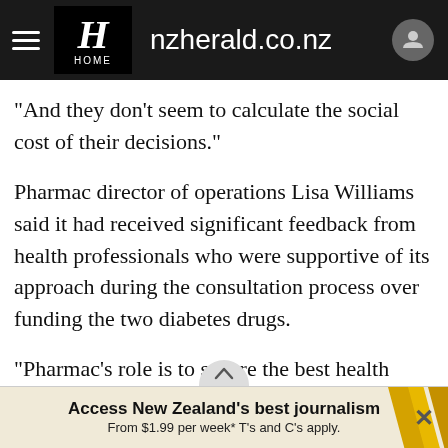nzherald.co.nz
"And they don't seem to calculate the social cost of their decisions."
Pharmac director of operations Lisa Williams said it had received significant feedback from health professionals who were supportive of its approach during the consultation process over funding the two diabetes drugs.
"Pharmac's role is to secure the best health outcomes from within our fixed budget. When you manage a fixed budget, there will always be more medicines than we
Access New Zealand's best journalism
From $1.99 per week* T's and C's apply.